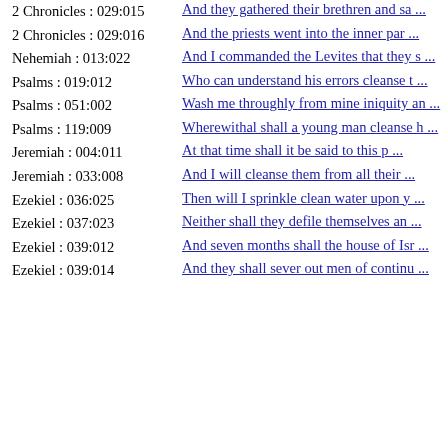2 Chronicles : 029:015 | And they gathered their brethren and sa ...
2 Chronicles : 029:016 | And the priests went into the inner par ...
Nehemiah : 013:022 | And I commanded the Levites that they s ...
Psalms : 019:012 | Who can understand his errors cleanse t ...
Psalms : 051:002 | Wash me throughly from mine iniquity an ...
Psalms : 119:009 | Wherewithal shall a young man cleanse h ...
Jeremiah : 004:011 | At that time shall it be said to this p ...
Jeremiah : 033:008 | And I will cleanse them from all their ...
Ezekiel : 036:025 | Then will I sprinkle clean water upon y ...
Ezekiel : 037:023 | Neither shall they defile themselves an ...
Ezekiel : 039:012 | And seven months shall the house of Isr ...
Ezekiel : 039:014 | And they shall sever out men of continu ...